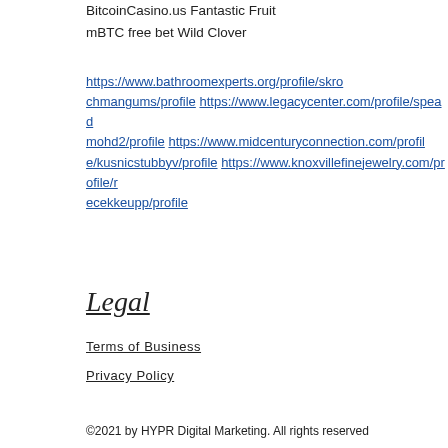1xSlots Casino Fruits and Stars
BitcoinCasino.us Fantastic Fruit
mBTC free bet Wild Clover
https://www.bathroomexperts.org/profile/skrochmangums/profile https://www.legacycenter.com/profile/speadmohd2/profile https://www.midcenturyconnection.com/profile/kusnicstubbyv/profile https://www.knoxvillefinejewelry.com/profile/recekkeupp/profile
Legal
Terms of Business
Privacy Policy
©2021 by HYPR Digital Marketing. All rights reserved